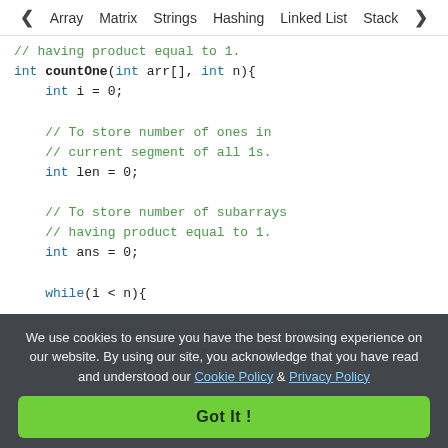◀ Array  Matrix  Strings  Hashing  Linked List  Stack  ▶
// having product equal to 1.
int countOne(int arr[], int n){
    int i = 0;

    // To store number of ones in
    // current segment of all 1s.
    int len = 0;

    // To store number of subarrays
    // having product equal to 1.
    int ans = 0;

    while(i < n){

        // If current element is 1, then
        // find length of segment of 1...
We use cookies to ensure you have the best browsing experience on our website. By using our site, you acknowledge that you have read and understood our Cookie Policy & Privacy Policy
Got It !